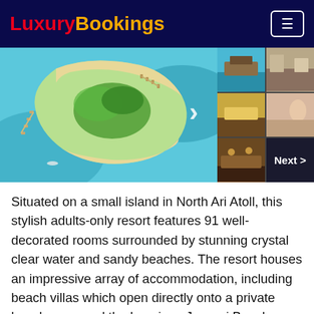LuxuryBookings
[Figure (photo): Aerial view of a tropical island resort in North Ari Atoll with crystal clear turquoise water, sandy beaches, and overwater bungalows, with thumbnail images on the right showing resort interiors and views]
Situated on a small island in North Ari Atoll, this stylish adults-only resort features 91 well-decorated rooms surrounded by stunning crystal clear water and sandy beaches. The resort houses an impressive array of accommodation, including beach villas which open directly onto a private beach area, and the luxurious Jacuzzi Beach Villas, which feature king-sized beds, tropical decor, and a private Jacuzzi to enjoy panoramic views of the blue waters. The resort is renowned as one of the best places in the world for honeymoons with the most friendliest of amenities